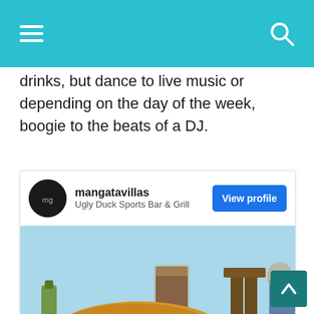Navigation bar with hamburger menu and search icon
drinks, but dance to live music or depending on the day of the week, boogie to the beats of a DJ.
[Figure (screenshot): Instagram-style profile card for 'mangatavillas' at Ugly Duck Sports Bar & Grill, with a View profile button and a photo of battered fish and chips with a drink at a beachside restaurant.]